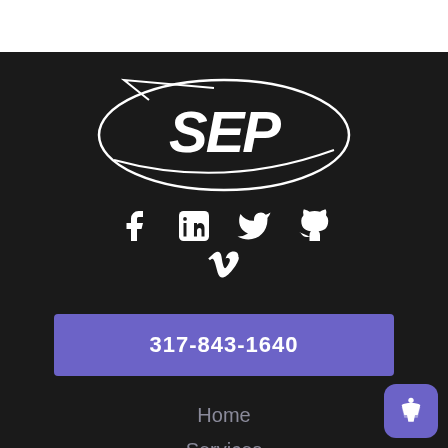[Figure (logo): SEP company logo — stylized italic 'SEP' text inside an elliptical swoosh shape, white on dark background]
[Figure (infographic): Row of social media icons: Facebook, LinkedIn, Twitter, GitHub; Vimeo icon below center]
317-843-1640
Home
Services